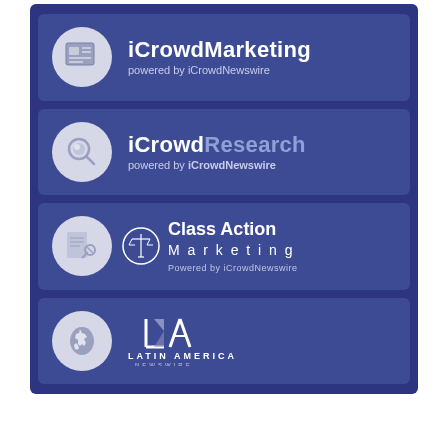[Figure (logo): iCrowdMarketing logo — circle icon with document/layout graphic, text 'iCrowdMarketing' and 'powered by iCrowdNewswire' on dark blue card]
[Figure (logo): iCrowdResearch logo — circle icon with magnifying glass graphic, text 'iCrowdResearch' and 'powered by iCrowdNewswire' on dark blue card]
[Figure (logo): Class Action Marketing logo — circle icon with newspaper/gavel, scales of justice circle logo, text 'Class Action Marketing' and 'Powered by iCrowdNewswire' on dark blue card]
[Figure (logo): Latin America Newswire logo — circle icon with map of South America, stylized 'LA' lettermark with triangle/line design, text 'LATIN AMERICA NEWSWIRE' on dark blue card]